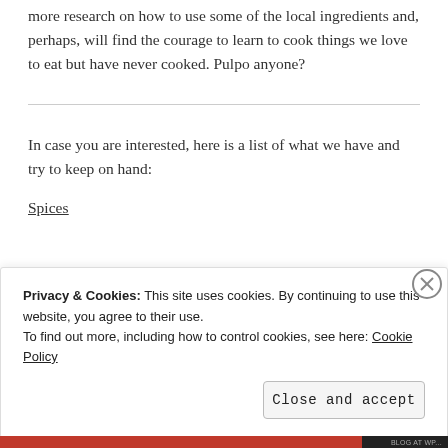more research on how to use some of the local ingredients and, perhaps, will find the courage to learn to cook things we love to eat but have never cooked. Pulpo anyone?
In case you are interested, here is a list of what we have and try to keep on hand:
Spices
Privacy & Cookies: This site uses cookies. By continuing to use this website, you agree to their use. To find out more, including how to control cookies, see here: Cookie Policy